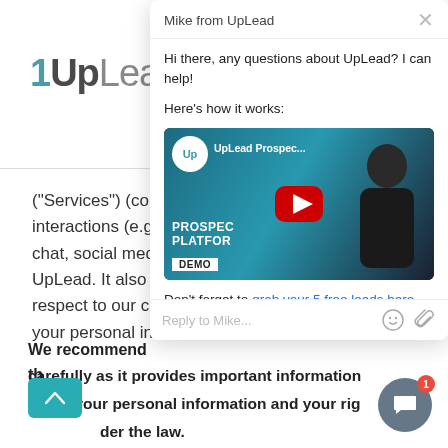[Figure (logo): UpLead logo — 'Up' in bold dark teal/gray, 'Lead' in lighter gray sans-serif]
("Services") (collect interactions (e.g., c chat, social media UpLead. It also tel respect to our coll your personal infor
[Figure (screenshot): Chat popup from Mike from UpLead with greeting text, a YouTube video thumbnail (UpLead Prospecting Platform Demo), and a link to grab 5 free leads. Includes a reply input area at the bottom.]
Don't forget to grab your 5 free leads here.
We recommend th carefully as it provides important information about your personal information and your rig der the law.